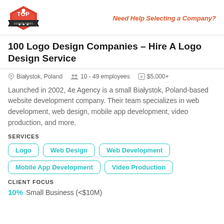Need Help Selecting a Company?
100 Logo Design Companies – Hire A Logo Design Service
Białystok, Poland   10 - 49 employees   $5,000+
Launched in 2002, 4e Agency is a small Białystok, Poland-based website development company. Their team specializes in web development, web design, mobile app development, video production, and more.
SERVICES
Logo
Web Design
Web Development
Mobile App Development
Video Production
CLIENT FOCUS
10% Small Business (<$10M)